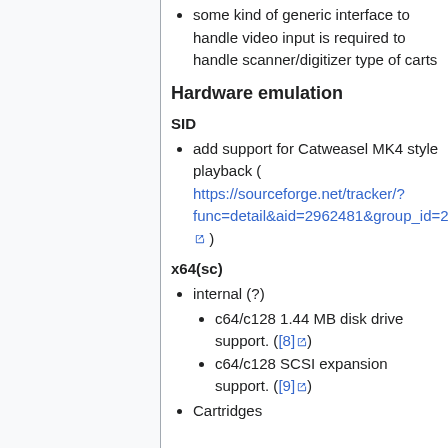some kind of generic interface to handle video input is required to handle scanner/digitizer type of carts
Hardware emulation
SID
add support for Catweasel MK4 style playback ( https://sourceforge.net/tracker/?func=detail&aid=2962481&group_id=223021&atid=1057620 )
x64(sc)
internal (?)
c64/c128 1.44 MB disk drive support. ([8])
c64/c128 SCSI expansion support. ([9])
Cartridges